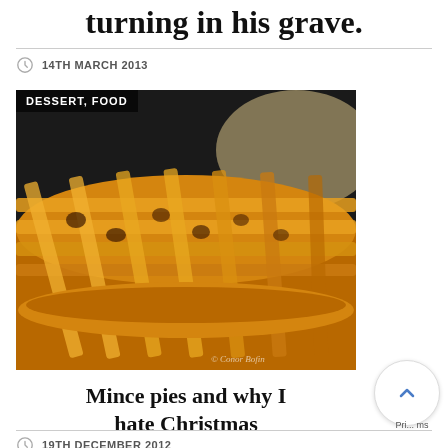turning in his grave.
14TH MARCH 2013
[Figure (photo): Close-up photograph of a lattice-topped mince pie with golden pastry crust, showing fruit filling through the woven pastry strips. Dark background. Watermark reads '© Conor Bofin'.]
Mince pies and why I hate Christmas
19TH DECEMBER 2012